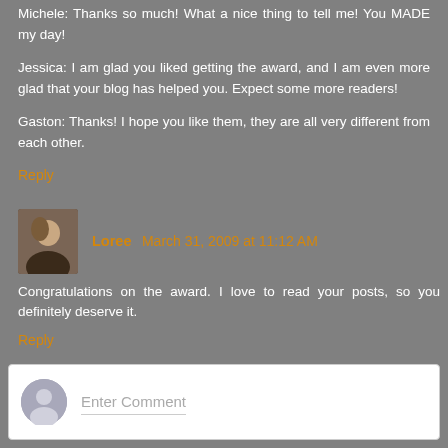Michele: Thanks so much! What a nice thing to tell me! You MADE my day!
Jessica: I am glad you liked getting the award, and I am even more glad that your blog has helped you. Expect some more readers!
Gaston: Thanks! I hope you like them, they are all very different from each other.
Reply
Loree March 31, 2009 at 11:12 AM
Congratulations on the award. I love to read your posts, so you definitely deserve it.
Reply
Enter Comment
I always love to hear what you thought of today's